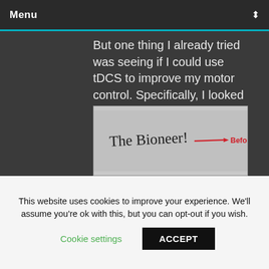Menu
But one thing I already tried was seeing if I could use tDCS to improve my motor control. Specifically, I looked at my ability to write left handed before and after stimulating my motor cortex. With all these things, it's incredibly difficult to rule out placebo but it did certainly seem to make my writing smoother and more controlled. Which is impressive, if that is really what was going on.
[Figure (photo): Handwritten text reading 'The Bioneer!' with a red arrow and the label 'Before' in red text, on a light grey background.]
This website uses cookies to improve your experience. We'll assume you're ok with this, but you can opt-out if you wish.
Cookie settings   ACCEPT